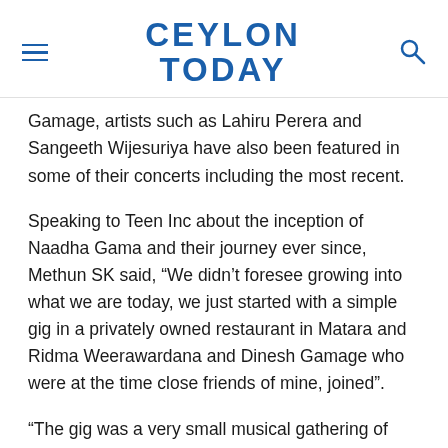CEYLON TODAY
Gamage, artists such as Lahiru Perera and Sangeeth Wijesuriya have also been featured in some of their concerts including the most recent.
Speaking to Teen Inc about the inception of Naadha Gama and their journey ever since, Methun SK said, “We didn’t foresee growing into what we are today, we just started with a simple gig in a privately owned restaurant in Matara and Ridma Weerawardana and Dinesh Gamage who were at the time close friends of mine, joined”.
“The gig was a very small musical gathering of only over 160 audience and at the time, we didn’t have any intentions to carry on with having concerts but we most certainly had a specific concept in our minds of the way in which we wanted